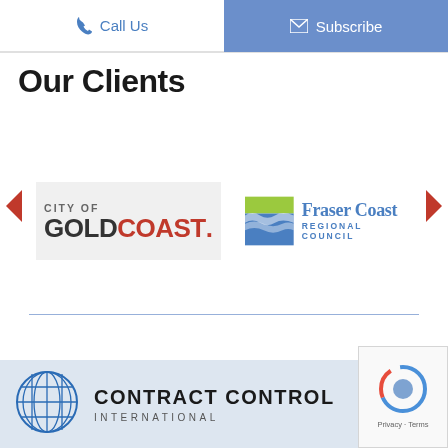Call Us | Subscribe
Our Clients
[Figure (logo): City of Gold Coast logo with bold dark and red text on grey background]
[Figure (logo): Fraser Coast Regional Council logo with wave graphic and green/blue colors]
[Figure (logo): Contract Control International globe logo and company name in footer]
[Figure (other): reCAPTCHA Privacy Terms badge in bottom right corner]